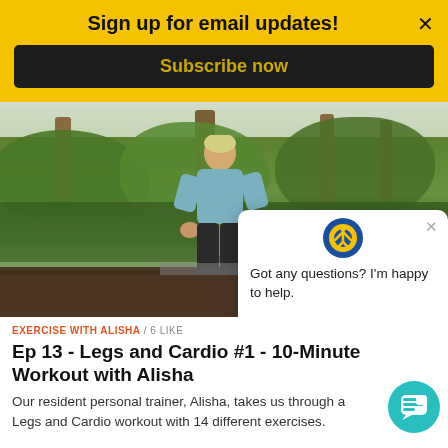Sign up for email updates!
Subscribe now
[Figure (photo): Woman exercising outdoors near a lake with trees in background, bending over a step platform on a wooden deck]
Got any questions? I'm happy to help.
EXERCISE WITH ALISHA / 6 LIKE
Ep 13 - Legs and Cardio #1 - 10-Minute Workout with Alisha
Our resident personal trainer, Alisha, takes us through a Legs and Cardio workout with 14 different exercises.